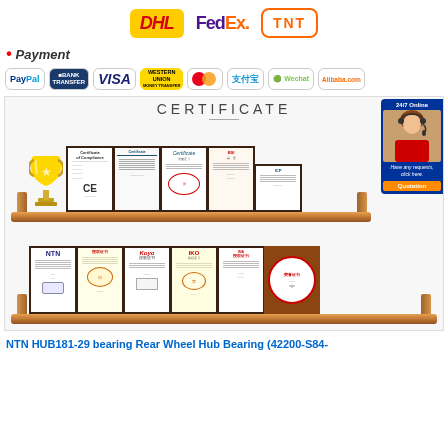[Figure (logo): Shipping logos: DHL, FedEx, TNT]
Payment
[Figure (logo): Payment method logos: PayPal, Bank Transfer, VISA, Western Union, MasterCard, Alipay, Wechat, Alibaba.com]
[Figure (photo): Certificate section showing two shelves of framed certificates and awards, with a trophy. Includes a 24/7 Online customer service panel on the right side.]
NTN HUB181-29 bearing Rear Wheel Hub Bearing (42200-S84-